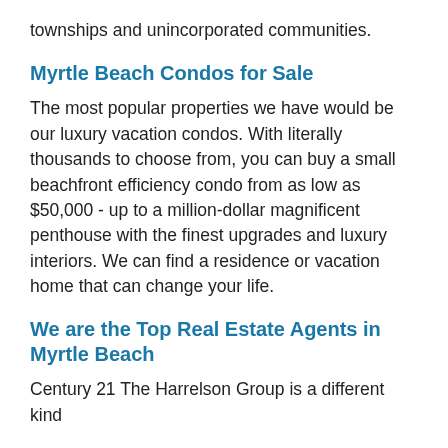townships and unincorporated communities.
Myrtle Beach Condos for Sale
The most popular properties we have would be our luxury vacation condos. With literally thousands to choose from, you can buy a small beachfront efficiency condo from as low as $50,000 - up to a million-dollar magnificent penthouse with the finest upgrades and luxury interiors. We can find a residence or vacation home that can change your life.
We are the Top Real Estate Agents in Myrtle Beach
Century 21 The Harrelson Group is a different kind